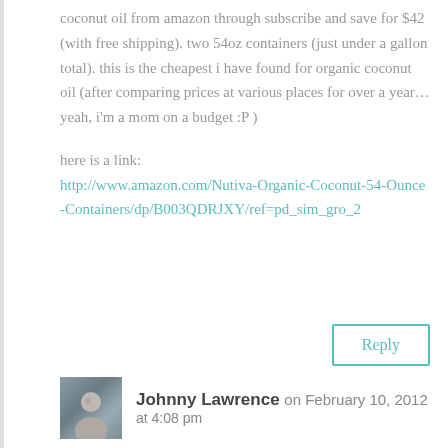coconut oil from amazon through subscribe and save for $42 (with free shipping). two 54oz containers (just under a gallon total). this is the cheapest i have found for organic coconut oil (after comparing prices at various places for over a year... yeah, i'm a mom on a budget :P )

here is a link:
http://www.amazon.com/Nutiva-Organic-Coconut-54-Ounce-Containers/dp/B003QDRJXY/ref=pd_sim_gro_2
Reply
Johnny Lawrence on February 10, 2012 at 4:08 pm